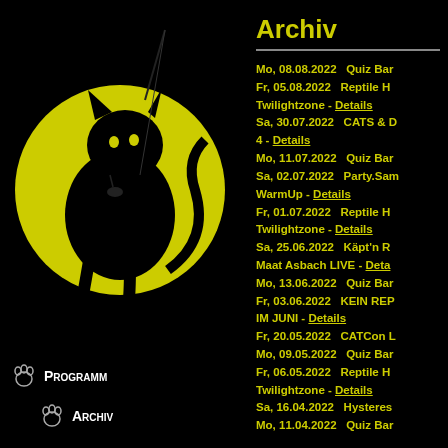[Figure (logo): CAT club logo: black cat silhouette on yellow moon, with 'CAT' text in top left]
Programm
Archiv
Archiv
Mo, 08.08.2022   Quiz Bar
Fr, 05.08.2022   Reptile Hotel Twilightzone - Details
Sa, 30.07.2022   CATS & D... 4 - Details
Mo, 11.07.2022   Quiz Bar
Sa, 02.07.2022   Party.Sa... WarmUp - Details
Fr, 01.07.2022   Reptile Hotel Twilightzone - Details
Sa, 25.06.2022   Käpt'n R... Maat Asbach LIVE - Details
Mo, 13.06.2022   Quiz Bar
Fr, 03.06.2022   KEIN REP... IM JUNI - Details
Fr, 20.05.2022   CATCon L...
Mo, 09.05.2022   Quiz Bar
Fr, 06.05.2022   Reptile Hotel Twilightzone - Details
Sa, 16.04.2022   Hysteres...
Mo, 11.04.2022   Quiz Bar